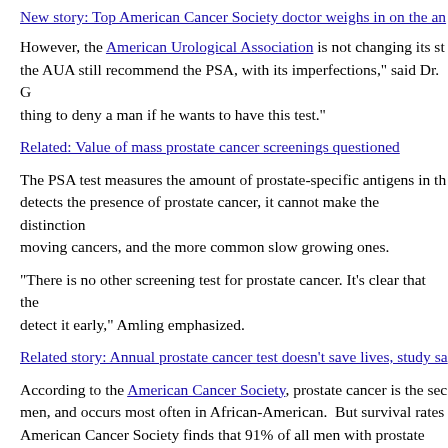New story: Top American Cancer Society doctor weighs in on the an
However, the American Urological Association is not changing its sta... the AUA still recommend the PSA, with its imperfections," said Dr. G... thing to deny a man if he wants to have this test."
Related: Value of mass prostate cancer screenings questioned
The PSA test measures the amount of prostate-specific antigens in th... detects the presence of prostate cancer, it cannot make the distinction... moving cancers, and the more common slow growing ones.
“There is no other screening test for prostate cancer. It’s clear that the... detect it early,” Amling emphasized.
Related story: Annual prostate cancer test doesn't save lives, study sa
According to the American Cancer Society, prostate cancer is the sec... men, and occurs most often in African-American. But survival rates... American Cancer Society finds that 91% of all men with prostate can... beyond diagnosis. According to the National Cancer Institute, 70% o... after age 75.
Dr. Otis Brawley, Chief Medical Officer of the American Cancer Soc... recommendation of the task force. “People need to realize that scien... said Brawley. "In the past, when we don’t have a scientific answer...